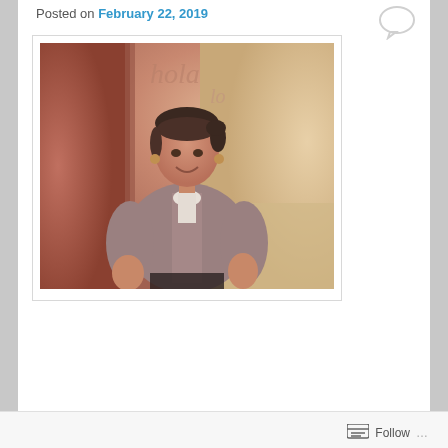Posted on February 22, 2019
[Figure (photo): A woman standing and smiling in front of a wall with graffiti. She is wearing a short-sleeved button-up shirt and has her hair pulled back.]
Follow